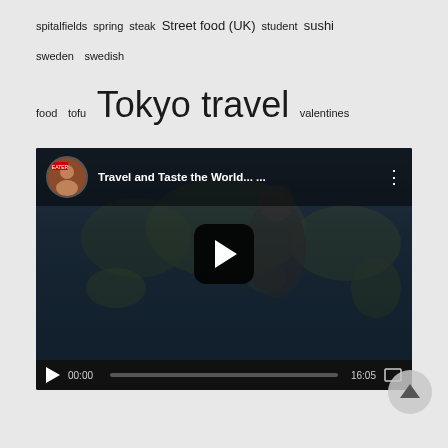spitalfields spring steak Street food (UK) student sushi sweden swedish food tofu Tokyo travel valentines vegetarian Yamashina
[Figure (screenshot): Embedded YouTube video player showing 'Travel and Taste the World...' with a thumbnail of a woman in front of a world map, play button overlay, and controls showing 00:00 / 16:05]